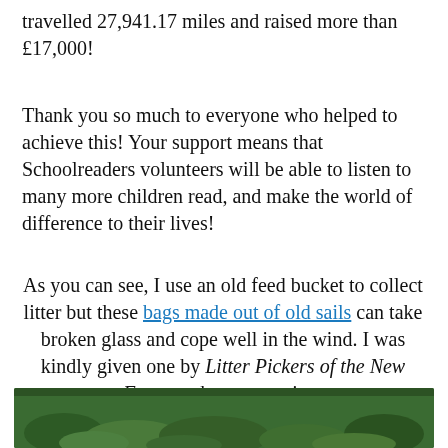travelled 27,941.17 miles and raised more than £17,000!
Thank you so much to everyone who helped to achieve this! Your support means that Schoolreaders volunteers will be able to listen to many more children read, and make the world of difference to their lives!
As you can see, I use an old feed bucket to collect litter but these bags made out of old sails can take broken glass and cope well in the wind. I was kindly given one by Litter Pickers of the New Forest to keep me going.
[Figure (photo): Outdoor nature photo showing green foliage and vegetation at the bottom of the page]